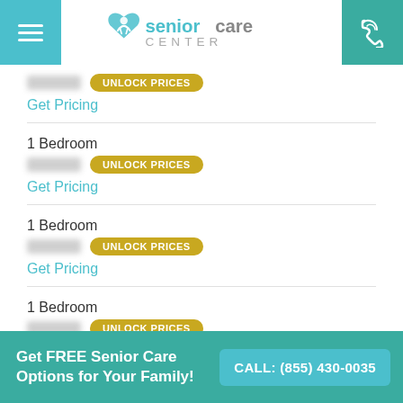[Figure (logo): Senior Care Center logo with teal heart/person icon and text 'seniorcare CENTER']
[blurred price] UNLOCK PRICES
Get Pricing
1 Bedroom
[blurred price] UNLOCK PRICES
Get Pricing
1 Bedroom
[blurred price] UNLOCK PRICES
Get Pricing
1 Bedroom
[blurred price] UNLOCK PRICES
Get Pricing
2 Bedrooms
Get FREE Senior Care Options for Your Family!
CALL: (855) 430-0035